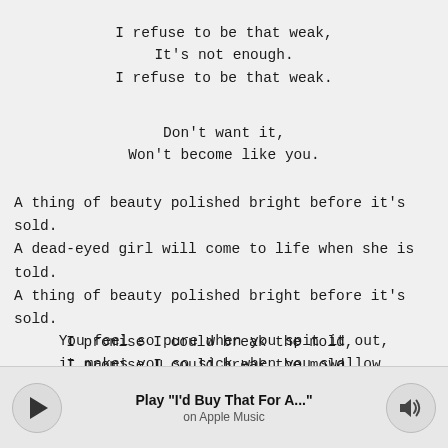I refuse to be that weak,
It's not enough.
I refuse to be that weak.
Don't want it,
Won't become like you.
A thing of beauty polished bright before it's sold.
A dead-eyed girl will come to life when she is told.
A thing of beauty polished bright before it's sold.
I promise I could break the mold,
I promise I could break the mold.
You feel so pure when you spit it out,
it makes you so sick when you swallow,
obsessed with the flashing lights.
Play "I'd Buy That For A..."
on Apple Music